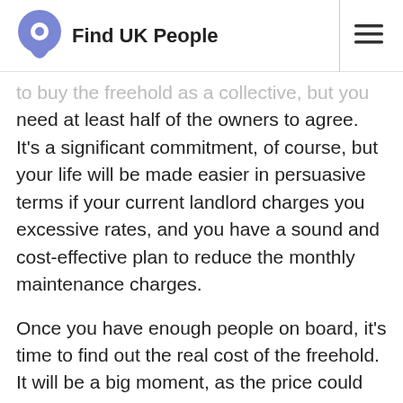Find UK People
to buy the freehold as a collective, but you need at least half of the owners to agree. It's a significant commitment, of course, but your life will be made easier in persuasive terms if your current landlord charges you excessive rates, and you have a sound and cost-effective plan to reduce the monthly maintenance charges.
Once you have enough people on board, it's time to find out the real cost of the freehold. It will be a big moment, as the price could give you the green light straight away, or put the freehold out of your reach.